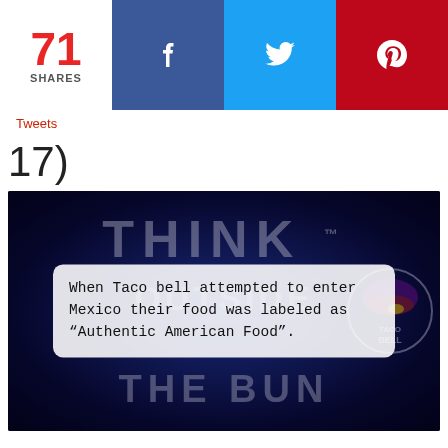71 SHARES
Tweets
17)
[Figure (photo): Dark blue background image with 'THINK OUTSIDE THE BUN' text (Taco Bell slogan) partially visible. Overlaid white rounded rectangle with text: 'When Taco bell attempted to enter Mexico their food was labeled as "Authentic American Food".' Taco Bell logo visible on the right side.]